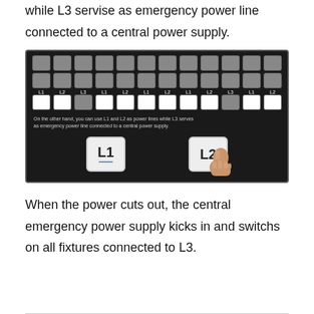while L3 servise as emergency power line connected to a central power supply.
[Figure (screenshot): A control panel interface on a dark background showing two rows of grey buttons, a row of L1/L2/L3 labels, a row of white and grey buttons, overlay text explaining L1/L2 as power lines and L3 as emergency, and two large keys labelled L1 and L2 with a pointing hand on the L2 key.]
When the power cuts out, the central emergency power supply kicks in and switchs on all fixtures connected to L3.